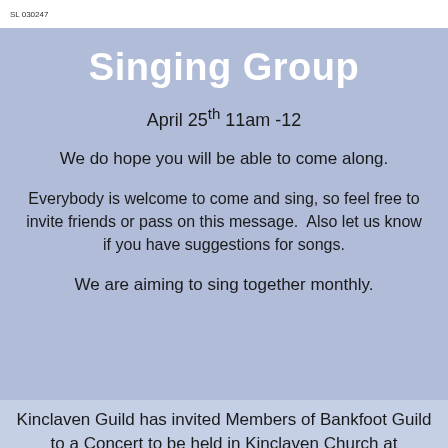SL 030247
Singing Group
April 25th 11am -12
We do hope you will be able to come along.
Everybody is welcome to come and sing, so feel free to invite friends or pass on this message.  Also let us know if you have suggestions for songs.
We are aiming to sing together monthly.
Kinclaven Guild has invited Members of Bankfoot Guild to a Concert to be held in Kinclaven Church at